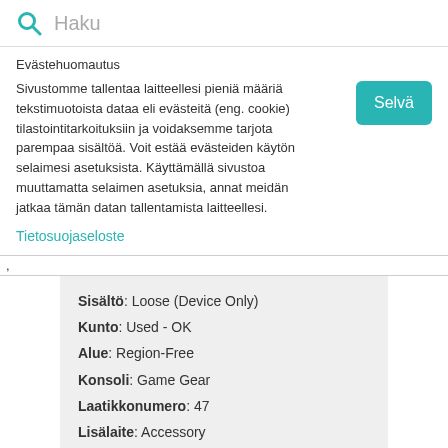Haku
Evästehuomautus
Sivustomme tallentaa laitteellesi pieniä määriä tekstimuotoista dataa eli evästeitä (eng. cookie) tilastointitarkoituksiin ja voidaksemme tarjota parempaa sisältöä. Voit estää evästeiden käytön selaimesi asetuksista. Käyttämällä sivustoa muuttamatta selaimen asetuksia, annat meidän jatkaa tämän datan tallentamista laitteellesi.
Selvä
Tietosuojaseloste
,
Sisältö: Loose (Device Only)
Kunto: Used - OK
Alue: Region-Free
Konsoli: Game Gear
Laatikkonumero: 47
Lisälaite: Accessory
25,46 €